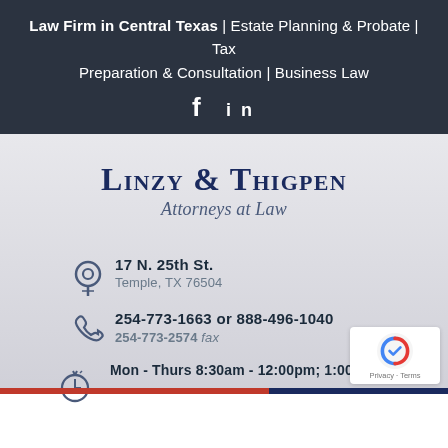Law Firm in Central Texas | Estate Planning & Probate | Tax Preparation & Consultation | Business Law
[Figure (logo): Facebook and LinkedIn social media icons in white on dark background]
Linzy & Thigpen Attorneys at Law
17 N. 25th St. Temple, TX 76504
254-773-1663 or 888-496-1040
254-773-2574 fax
Mon - Thurs 8:30am - 12:00pm; 1:00pm - 4:30p